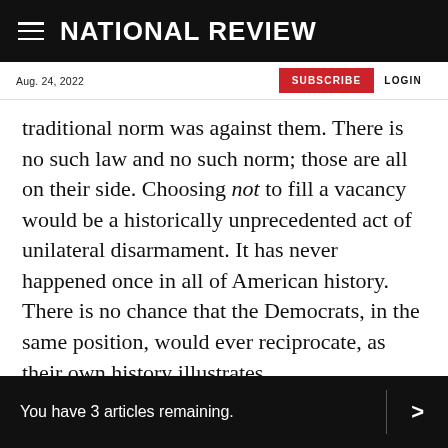NATIONAL REVIEW
Aug. 24, 2022 | SUBSCRIBE | LOGIN
traditional norm was against them. There is no such law and no such norm; those are all on their side. Choosing not to fill a vacancy would be a historically unprecedented act of unilateral disarmament. It has never happened once in all of American history. There is no chance that the Democrats, in the same position, would ever reciprocate, as their own history illustrates.
You have 3 articles remaining.